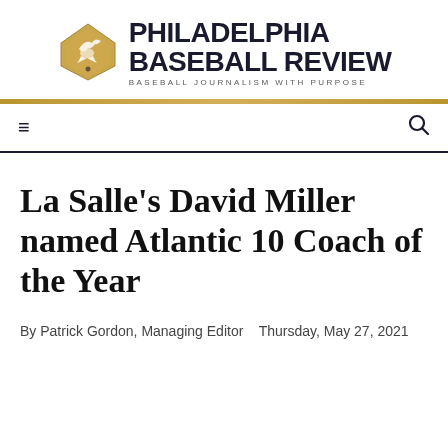[Figure (logo): Philadelphia Baseball Review logo with a gold diamond/home plate shape containing a bird silhouette, next to bold text reading PHILADELPHIA BASEBALL REVIEW with tagline BASEBALL JOURNALISM WITH PURPOSE]
La Salle's David Miller named Atlantic 10 Coach of the Year
By Patrick Gordon, Managing Editor   Thursday, May 27, 2021